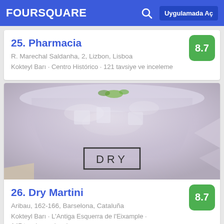FOURSQUARE | Uygulamada Aç
25. Pharmacia
R. Marechal Saldanha, 2, Lizbon, Lisboa
Kokteyl Barı · Centro Histórico · 121 tavsiye ve inceleme
[Figure (photo): Close-up photo of a cocktail glass with ice, labeled DRY at the bottom, pinkish-lavender drink visible]
26. Dry Martini
Aribau, 162-166, Barselona, Cataluña
Kokteyl Barı · L'Antiga Esquerra de l'Eixample · 147 tavsiye ve inceleme